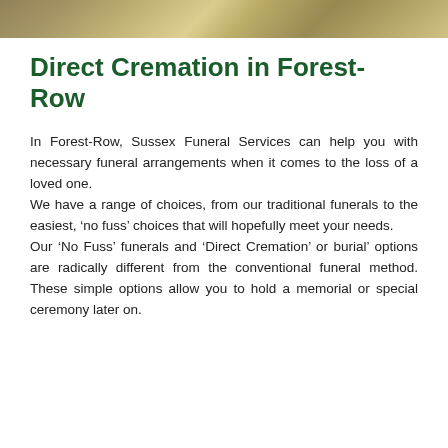[Figure (photo): Decorative nature photo strip at top of page showing blurred outdoor foliage in warm brown and green tones]
Direct Cremation in Forest-Row
In Forest-Row, Sussex Funeral Services can help you with necessary funeral arrangements when it comes to the loss of a loved one.
We have a range of choices, from our traditional funerals to the easiest, ‘no fuss’ choices that will hopefully meet your needs.
Our ‘No Fuss’ funerals and ‘Direct Cremation’ or burial’ options are radically different from the conventional funeral method. These simple options allow you to hold a memorial or special ceremony later on.